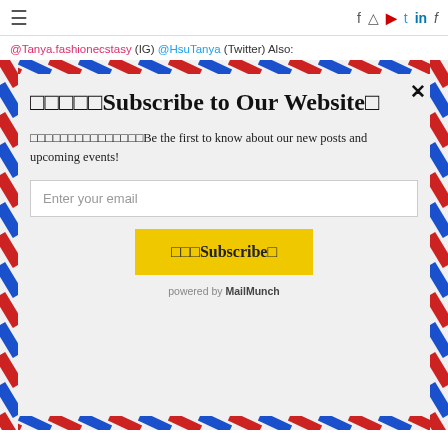≡  [social icons: f, instagram, youtube, twitter, linkedin, f]
@Tanya.fashionecstasy (IG) @HsuTanya (Twitter) Also:
□□□□□Subscribe to Our Website□
□□□□□□□□□□□□□□□Be the first to know about our new posts and upcoming events!
Enter your email
□□□Subscribe□
powered by MailMunch